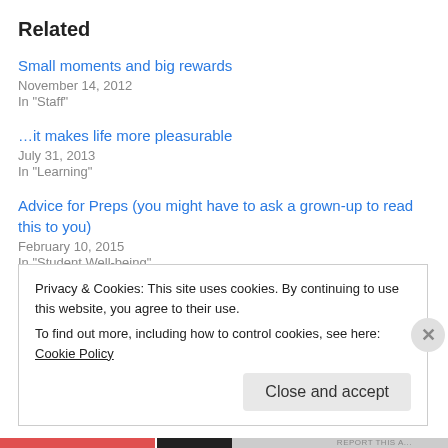Related
Small moments and big rewards
November 14, 2012
In "Staff"
…it makes life more pleasurable
July 31, 2013
In "Learning"
Advice for Preps (you might have to ask a grown-up to read this to you)
February 10, 2015
In "Student Well-being"
Privacy & Cookies: This site uses cookies. By continuing to use this website, you agree to their use.
To find out more, including how to control cookies, see here: Cookie Policy
Close and accept